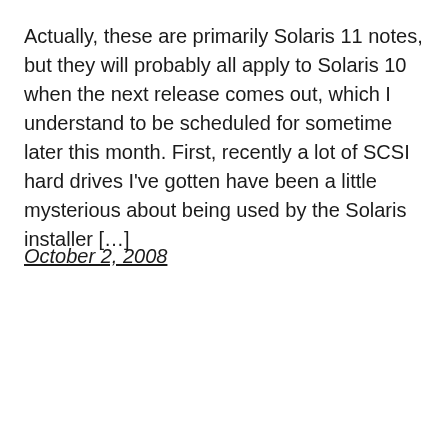Actually, these are primarily Solaris 11 notes, but they will probably all apply to Solaris 10 when the next release comes out, which I understand to be scheduled for sometime later this month. First, recently a lot of SCSI hard drives I've gotten have been a little mysterious about being used by the Solaris installer […]
October 2, 2008